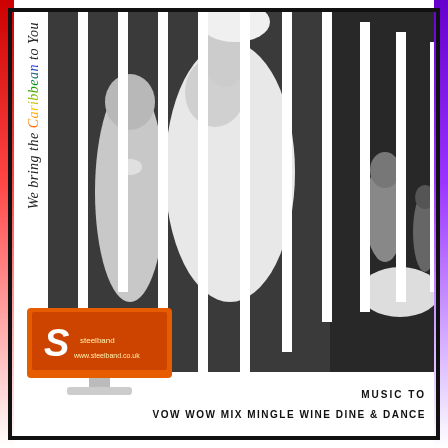[Figure (photo): Black and white wedding photo displayed as vertical strips with bride dancing, shown segmented by white vertical bars. Red gradient bar on left, purple gradient bar on right.]
We bring the Caribbean to You
[Figure (logo): Orange monitor/screen logo with stylized S letter and website www.steelband.co.uk]
MUSIC TO
VOW WOW MIX MINGLE WINE DINE & DANCE